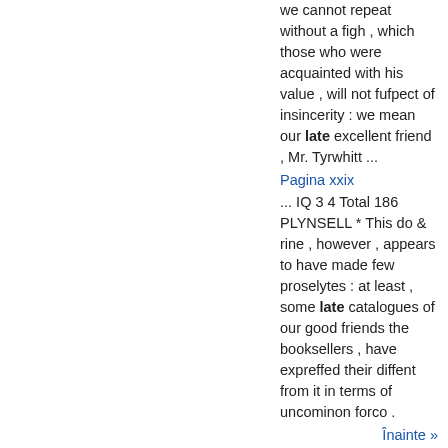we cannot repeat without a figh , which those who were acquainted with his value , will not fufpect of insincerity : we mean our late excellent friend , Mr. Tyrwhitt ...
Pagina xxix
... IQ 3 4 Total 186 PLYNSELL * This do & rine , however , appears to have made few proselytes : at least , some late catalogues of our good friends the booksellers , have expreffed their diffent from it in terms of uncominon forco .
Înainte »
Unde este restul acestei cărți?